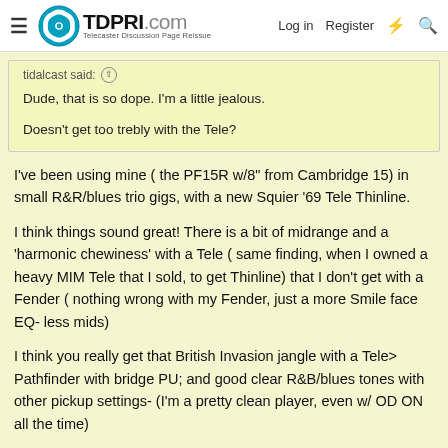TDPRI.com — Telecaster Discussion Page Reissue | Log in | Register
tidalcast said: ↑

Dude, that is so dope. I'm a little jealous.

Doesn't get too trebly with the Tele?
I've been using mine ( the PF15R w/8" from Cambridge 15) in small R&R/blues trio gigs, with a new Squier '69 Tele Thinline.
I think things sound great! There is a bit of midrange and a 'harmonic chewiness' with a Tele ( same finding, when I owned a heavy MIM Tele that I sold, to get Thinline) that I don't get with a Fender ( nothing wrong with my Fender, just a more Smile face EQ- less mids)
I think you really get that British Invasion jangle with a Tele> Pathfinder with bridge PU; and good clear R&B/blues tones with other pickup settings- (I'm a pretty clean player, even w/ OD ON all the time)